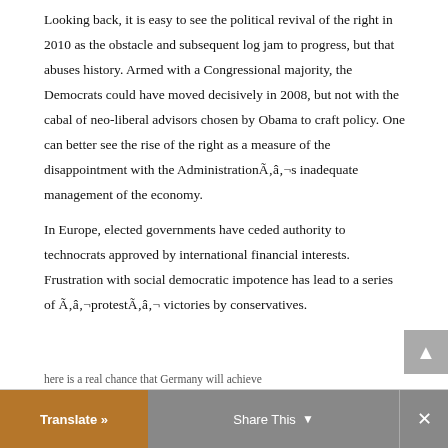Looking back, it is easy to see the political revival of the right in 2010 as the obstacle and subsequent log jam to progress, but that abuses history. Armed with a Congressional majority, the Democrats could have moved decisively in 2008, but not with the cabal of neo-liberal advisors chosen by Obama to craft policy. One can better see the rise of the right as a measure of the disappointment with the AdministrationÃâ¬s inadequate management of the economy.
In Europe, elected governments have ceded authority to technocrats approved by international financial interests. Frustration with social democratic impotence has lead to a series of Ãâ¬protestÃâ¬ victories by conservatives.
here is a real chance that Germany will achieve